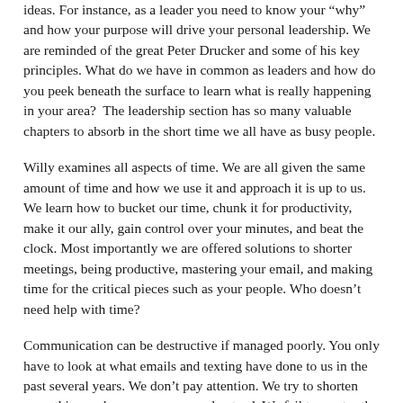ideas. For instance, as a leader you need to know your "why" and how your purpose will drive your personal leadership. We are reminded of the great Peter Drucker and some of his key principles. What do we have in common as leaders and how do you peek beneath the surface to learn what is really happening in your area?  The leadership section has so many valuable chapters to absorb in the short time we all have as busy people.
Willy examines all aspects of time. We are all given the same amount of time and how we use it and approach it is up to us. We learn how to bucket our time, chunk it for productivity, make it our ally, gain control over your minutes, and beat the clock. Most importantly we are offered solutions to shorter meetings, being productive, mastering your email, and making time for the critical pieces such as your people. Who doesn't need help with time?
Communication can be destructive if managed poorly. You only have to look at what emails and texting have done to us in the past several years. We don't pay attention. We try to shorten everything and we assume we understand. We fail to master the process of communication. You will not have impact if you are a poor communicator. More importantly, listening is becoming a lost art.